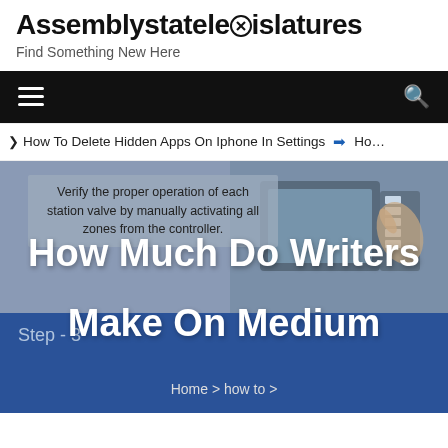Assemblystatelegislatures
Find Something New Here
Navigation bar with hamburger menu and search icon
How To Delete Hidden Apps On Iphone In Settings  ❯  Ho…
[Figure (screenshot): Sprinkler controller image with text overlay: Verify the proper operation of each station valve by manually activating all zones from the controller.]
How Much Do Writers Make On Medium
Step - 3
Home > how to >
How Much Do Writers Make On Medium
Walk through each station on the controller, checking for proper operation of the zone…